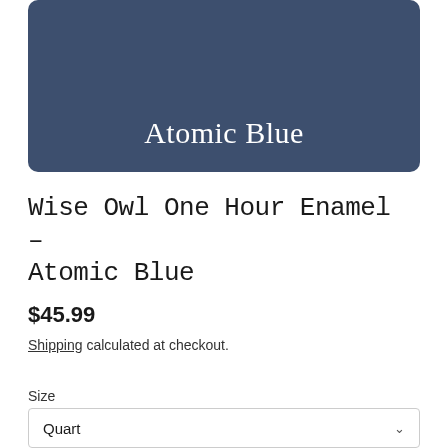[Figure (illustration): Color swatch rectangle with rounded corners in dark navy blue (#3d4f6e) with the text 'Atomic Blue' in white serif font at the bottom center]
Wise Owl One Hour Enamel - Atomic Blue
$45.99
Shipping calculated at checkout.
Size
Quart